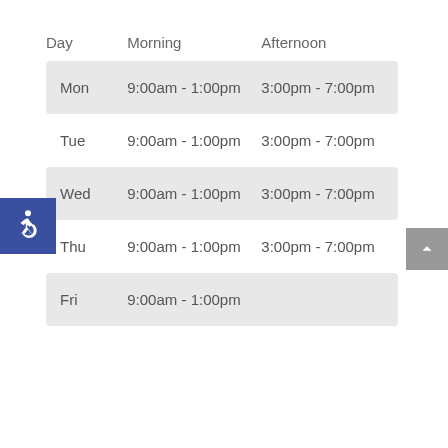| Day | Morning | Afternoon |
| --- | --- | --- |
| Mon | 9:00am - 1:00pm | 3:00pm - 7:00pm |
| Tue | 9:00am - 1:00pm | 3:00pm - 7:00pm |
| Wed | 9:00am - 1:00pm | 3:00pm - 7:00pm |
| Thu | 9:00am - 1:00pm | 3:00pm - 7:00pm |
| Fri | 9:00am - 1:00pm |  |